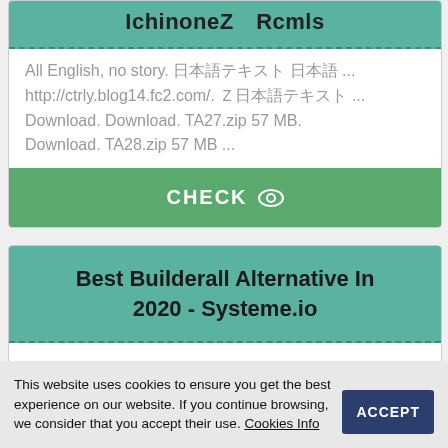All English, no story. 日本語テキスト ...
http://ctrly.blog14.fc2.com/. ※日本語テキスト ...
Download. Download. TA27.zip 57 MB.
Download. TA28.zip 57 MB ...
CHECK
Best Builderall Alternative In 2020 - Systeme.io
There are so many elements involved in selling products online and digitally
This website uses cookies to ensure you get the best experience on our website. If you continue browsing, we consider that you accept their use. Cookies Info